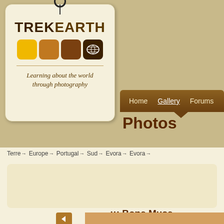[Figure (logo): TrekEarth logo tag with colored squares and world map icon. Text: TREKEARTH, Learning about the world through photography]
Home   Gallery   Forums   C...
Photos
Terre > Europe > Portugal > Sud > Evora > Evora >
::: Bone Muse...